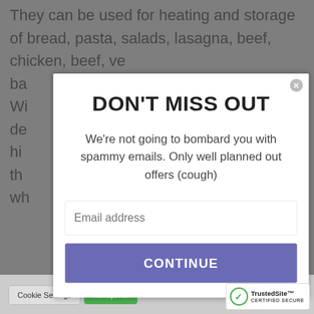They can be used for heating and storage of bread, pasta, salads, lasagna, beef, chicken, beef, ve... ba... Wi... de... F hi... r th... t wh... er
[Figure (screenshot): Modal popup overlay with 'DON'T MISS OUT' title, body text 'We're not going to bombard you with spammy emails. Only well planned out offers (cough)', an email address input field, and a purple CONTINUE button. A close (X) button appears in the top-right corner of the modal.]
Cookie Settings | Accept All
[Figure (logo): TrustedSite CERTIFIED SECURE badge in the bottom-right corner]